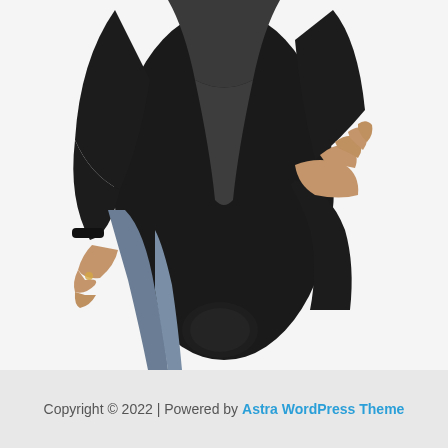[Figure (photo): A person wearing a black and grey/blue wetsuit, shown from torso to mid-thigh. The wetsuit has dark grey panels on the chest and a blue-grey stripe on the side. The person's hands are visible — one at the waist on the right side and one pulling at the side panel on the lower left. White background.]
Copyright © 2022 | Powered by Astra WordPress Theme